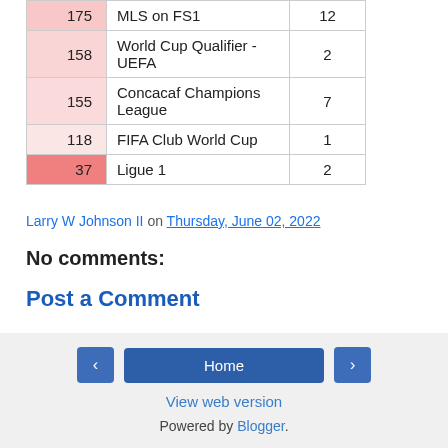|  |  |  |
| --- | --- | --- |
| 175 | MLS on FS1 | 12 |
| 158 | World Cup Qualifier - UEFA | 2 |
| 155 | Concacaf Champions League | 7 |
| 118 | FIFA Club World Cup | 1 |
| 37 | Ligue 1 | 2 |
Larry W Johnson II on Thursday, June 02, 2022
No comments:
Post a Comment
‹  Home  ›  View web version  Powered by Blogger.